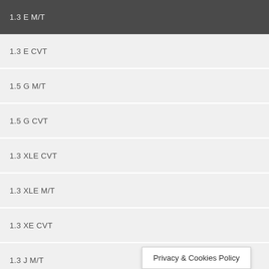1.3 E M/T
1.3 E CVT
1.5 G M/T
1.5 G CVT
1.3 XLE CVT
1.3 XLE M/T
1.3 XE CVT
1.3 J M/T
1.3 BASE M/T
Privacy & Cookies Policy